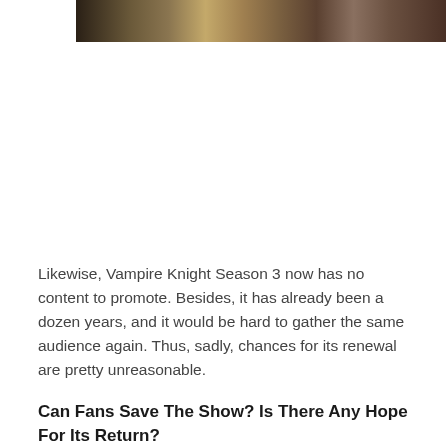[Figure (photo): A cropped image banner showing what appears to be characters or a scene from an anime, with warm brown and golden tones.]
Likewise, Vampire Knight Season 3 now has no content to promote. Besides, it has already been a dozen years, and it would be hard to gather the same audience again. Thus, sadly, chances for its renewal are pretty unreasonable.
Can Fans Save The Show? Is There Any Hope For Its Return?
Nowadays, fans and followers hold much more